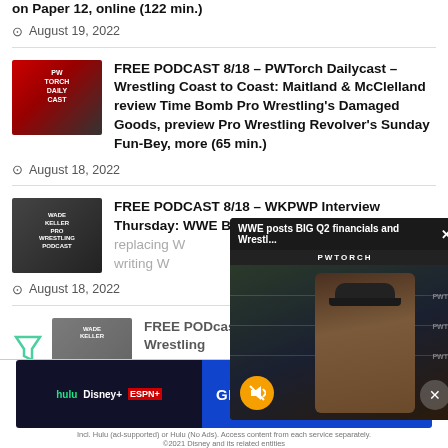[truncated top title] ...on Paper 12, online (122 min.)
August 19, 2022
FREE PODCAST 8/18 – PWTorch Dailycast – Wrestling Coast to Coast: Maitland & McClelland review Time Bomb Pro Wrestling's Damaged Goods, preview Pro Wrestling Revolver's Sunday Fun-Bey, more (65 min.)
August 18, 2022
FREE PODCAST 8/18 – WKPWP Interview Thursday: [partially obscured by popup] WWE Brian [obscured] replacing W[obscured] writing W[obscured]
August 18, 2022
FREE POD[cast partially obscured] Wrestling [partially obscured] Sage: Pun[k obscured]
[Figure (screenshot): Video popup overlay: 'WWE posts BIG Q2 financials and Wrestl...' with PWTORCH branding, showing a man in a black cap in front of wrestling ring ropes. Yellow mute button (speaker crossed out) at bottom left, close X button top right, circular close button bottom right.]
[Figure (photo): Ad banner: Disney Bundle ad showing Hulu, Disney+, ESPN+ logos on dark background left side, 'GET THE DISNEY BUNDLE' call to action on blue right side. Fine print: 'Incl. Hulu (ad-supported) or Hulu (No Ads). Access content from each service separately. ©2021 Disney and its related entities']